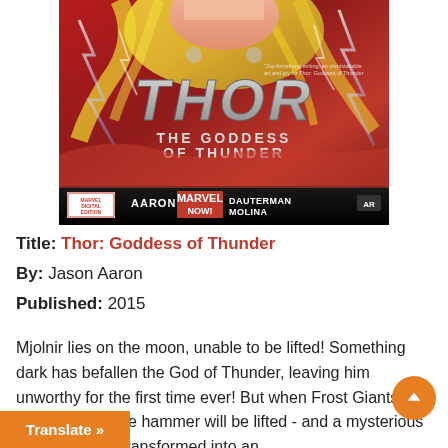[Figure (illustration): Comic book cover of Thor: The Goddess of Thunder, published by Marvel NOW! Written by Aaron, art by Dauterman and Molina. Shows Thor as a woman with lightning, large metallic THOR title text, subtitle 'The Goddess of Thunder', Digital Edition badge, Marvel NOW! logo, creator names, and AR badge on dark bottom bar.]
Title: Thor: Goddess of Thunder
By: Jason Aaron
Published: 2015
Mjolnir lies on the moon, unable to be lifted! Something dark has befallen the God of Thunder, leaving him unworthy for the first time ever! But when Frost Giants invade Earth, the hammer will be lifted - and a mysterious woman will be transformed into an